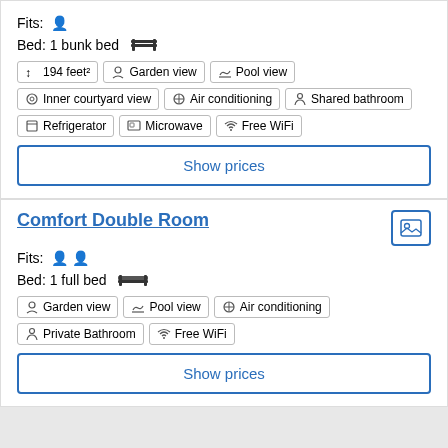Fits: [person icon]
Bed: 1 bunk bed [bed icon]
194 feet² | Garden view | Pool view | Inner courtyard view | Air conditioning | Shared bathroom | Refrigerator | Microwave | Free WiFi
Show prices
Comfort Double Room
Fits: [two person icons]
Bed: 1 full bed [bed icon]
Garden view | Pool view | Air conditioning | Private Bathroom | Free WiFi
Show prices